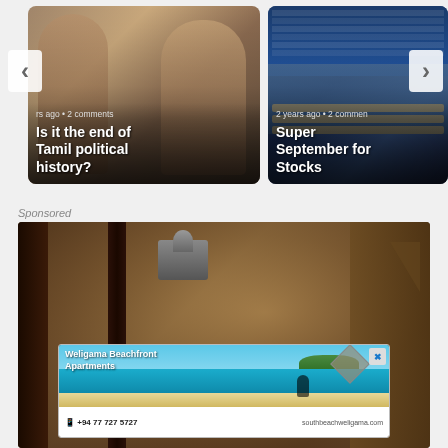[Figure (screenshot): News carousel card: 'Is it the end of Tamil political history?' with metadata '2 years ago • 2 comments']
[Figure (screenshot): News carousel card: 'Super September for Stocks' with metadata '2 years ago • 2 comments']
Sponsored
[Figure (photo): Sponsored section showing rustic close-up photo with advertisement overlay for Weligama Beachfront Apartments. Ad shows beach photo with text '+94 77 727 5727' and 'southbeachweligama.com']